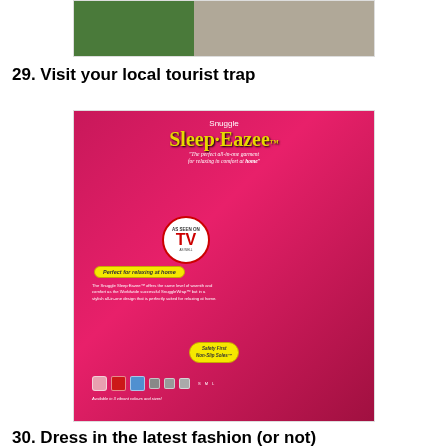[Figure (photo): Partial photo showing greenery on the left and rocky/sandy texture on the right, cropped at top of page]
29. Visit your local tourist trap
[Figure (photo): Photo of a Snuggle Sleep-Eazee product box, a bright pink/red box showing a one-piece onesie garment. The box reads 'Snuggle Sleep-Eazee - The perfect all-in-one garment for relaxing in comfort at home'. Features a TV badge saying 'As Seen On TV', yellow bubble saying 'Perfect for relaxing at home', color swatches, and text 'Available in 3 vibrant colours and sizes!']
30. Dress in the latest fashion (or not)